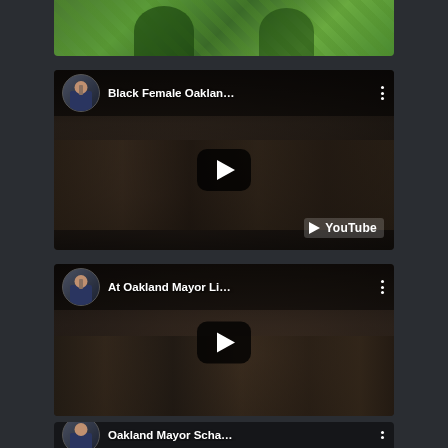[Figure (screenshot): Top portion of a YouTube video thumbnail showing two people in green shirts, partially cropped at the top of the page]
[Figure (screenshot): YouTube video embed titled 'Black Female Oaklan...' with channel avatar, play button, and YouTube logo watermark. Dark crowd scene background.]
[Figure (screenshot): YouTube video embed titled 'At Oakland Mayor Li...' with channel avatar and play button. Dark crowd scene at what appears to be an event.]
[Figure (screenshot): Partial YouTube video embed at bottom, titled 'Oakland Mayor Scha...' showing channel avatar and beginning of title bar.]